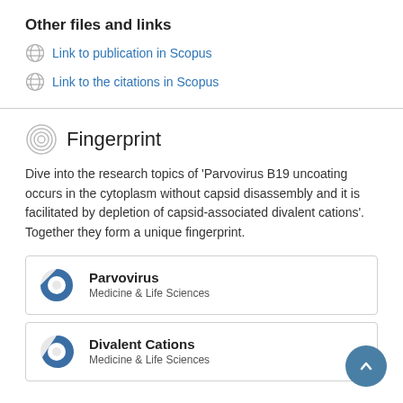Other files and links
Link to publication in Scopus
Link to the citations in Scopus
Fingerprint
Dive into the research topics of 'Parvovirus B19 uncoating occurs in the cytoplasm without capsid disassembly and it is facilitated by depletion of capsid-associated divalent cations'. Together they form a unique fingerprint.
Parvovirus
Medicine & Life Sciences
Divalent Cations
Medicine & Life Sciences